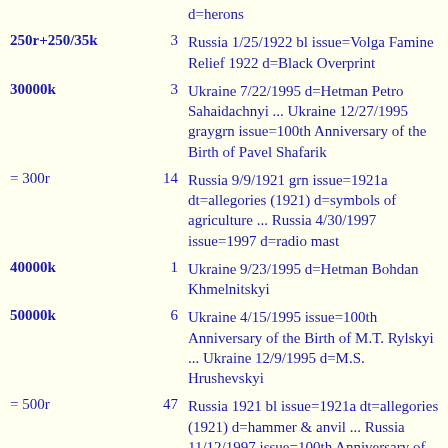| Value | Count | Description |
| --- | --- | --- |
|  |  | d=herons |
| 250r+250/35k | 3 | Russia 1/25/1922 bl issue=Volga Famine Relief 1922 d=Black Overprint |
| 30000k | 3 | Ukraine 7/22/1995 d=Hetman Petro Sahaidachnyi ... Ukraine 12/27/1995 graygrn issue=100th Anniversary of the Birth of Pavel Shafarik |
| = 300r | 14 | Russia 9/9/1921 grn issue=1921a dt=allegories (1921) d=symbols of agriculture ... Russia 4/30/1997 issue=1997 d=radio mast |
| 40000k | 1 | Ukraine 9/23/1995 d=Hetman Bohdan Khmelnitskyi |
| 50000k | 6 | Ukraine 4/15/1995 issue=100th Anniversary of the Birth of M.T. Rylskyi ... Ukraine 12/9/1995 d=M.S. Hrushevskyi |
| = 500r | 47 | Russia 1921 bl issue=1921a dt=allegories (1921) d=hammer & anvil ... Russia 11/12/1997 issue=100th Anniversary of the |